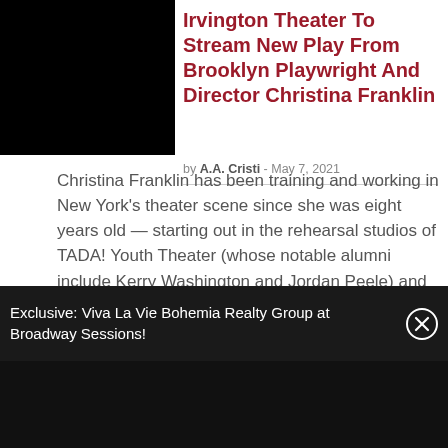[Figure (photo): Black rectangle image placeholder on the left side of the article]
Irvington Theater To Stream New Play From Brooklyn Playwright And Director Christina Franklin
by A.A. Cristi - May 7, 2021
Christina Franklin has been training and working in New York's theater scene since she was eight years old — starting out in the rehearsal studios of TADA! Youth Theater (whose notable alumni include Kerry Washington and Jordan Peele) and taking her gift for storytelling all the way to Broadway. Irvington Theater
Exclusive: Viva La Vie Bohemia Realty Group at Broadway Sessions!